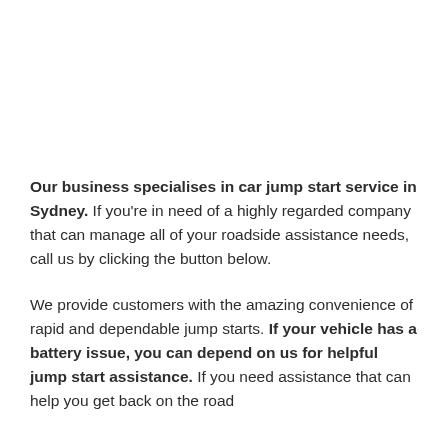Our business specialises in car jump start service in Sydney. If you're in need of a highly regarded company that can manage all of your roadside assistance needs, call us by clicking the button below.
We provide customers with the amazing convenience of rapid and dependable jump starts. If your vehicle has a battery issue, you can depend on us for helpful jump start assistance. If you need assistance that can help you get back on the road